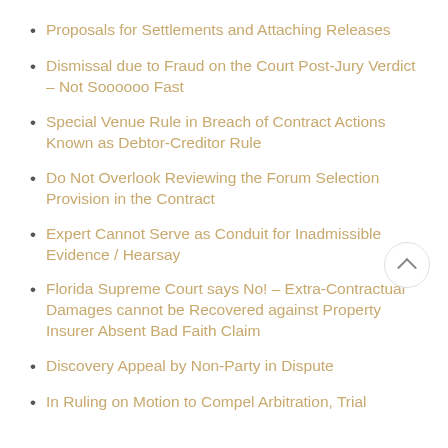Proposals for Settlements and Attaching Releases
Dismissal due to Fraud on the Court Post-Jury Verdict – Not Soooooo Fast
Special Venue Rule in Breach of Contract Actions Known as Debtor-Creditor Rule
Do Not Overlook Reviewing the Forum Selection Provision in the Contract
Expert Cannot Serve as Conduit for Inadmissible Evidence / Hearsay
Florida Supreme Court says No! – Extra-Contractual Damages cannot be Recovered against Property Insurer Absent Bad Faith Claim
Discovery Appeal by Non-Party in Dispute
In Ruling on Motion to Compel Arbitration, Trial